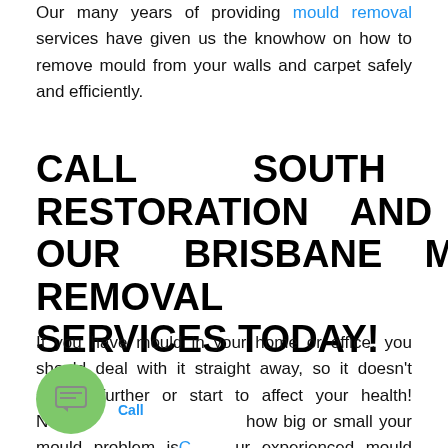Our many years of providing mould removal services have given us the knowhow on how to remove mould from your walls and carpet safely and efficiently.
CALL SOUTH QLD RESTORATION AND BOOK OUR BRISBANE MOULD REMOVAL SERVICES TODAY!
If you have mould in your home or office, you should deal with it straight away, so it doesn't spread further or start to affect your health! No how big or small your mould problem is, our experienced mould removal specialists